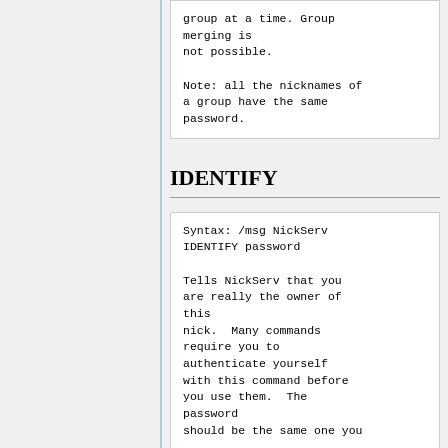group at a time. Group merging is
not possible.

Note: all the nicknames of
a group have the same
password.
IDENTIFY
Syntax: /msg NickServ IDENTIFY password

Tells NickServ that you are really the owner of this
nick.  Many commands require you to authenticate yourself
with this command before you use them.  The password
should be the same one you